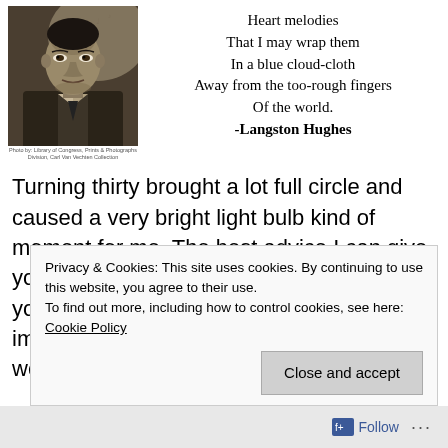[Figure (photo): Black and white portrait photo of Langston Hughes, a man in a suit looking slightly upward]
Heart melodies
That I may wrap them
In a blue cloud-cloth
Away from the too-rough fingers
Of the world.
-Langston Hughes
Photo by: Library of Congress, Prints & Photographs Division, Carl Van Vechten Collection
Turning thirty brought a lot full circle and caused a very bright light bulb kind of moment for me. The best advice I can give you is to follow your dreams and be who you are meant to be. Without dreams, I can imagine a person feeling dead. Over the weekend, I checked in
Privacy & Cookies: This site uses cookies. By continuing to use this website, you agree to their use.
To find out more, including how to control cookies, see here: Cookie Policy
Close and accept